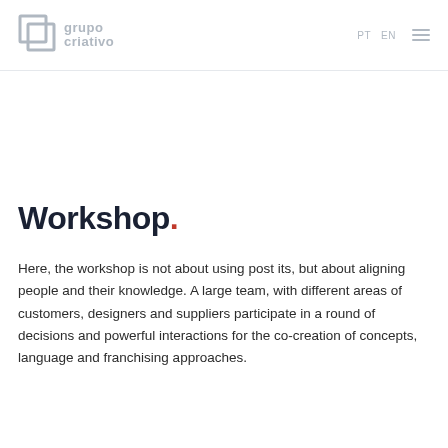grupo criativo
Workshop.
Here, the workshop is not about using post its, but about aligning people and their knowledge. A large team, with different areas of customers, designers and suppliers participate in a round of decisions and powerful interactions for the co-creation of concepts, language and franchising approaches.